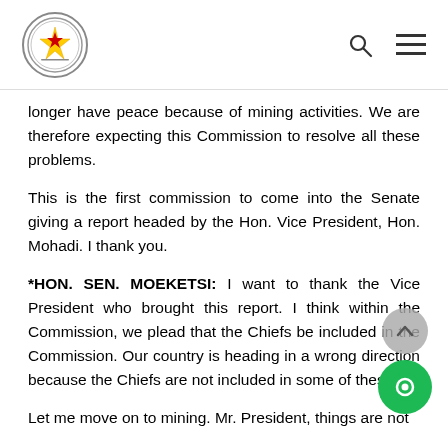Parliament of Zimbabwe - header with logo, search icon, and menu icon
longer have peace because of mining activities. We are therefore expecting this Commission to resolve all these problems.
This is the first commission to come into the Senate giving a report headed by the Hon. Vice President, Hon. Mohadi. I thank you.
*HON. SEN. MOEKETSI: I want to thank the Vice President who brought this report. I think within the Commission, we plead that the Chiefs be included in the Commission. Our country is heading in a wrong direction because the Chiefs are not included in some of the [commissions].
Let me move on to mining. Mr. President, things are not